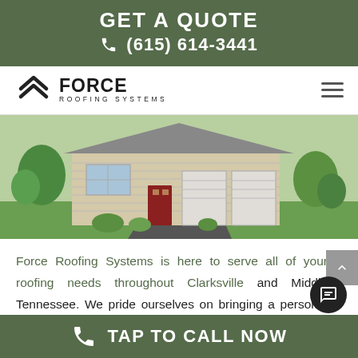GET A QUOTE
☎ (615) 614-3441
[Figure (logo): Force Roofing Systems logo with double chevron arrow and text]
[Figure (photo): Suburban house with beige siding, red front door, two-car garage, and green lawn]
Force Roofing Systems is here to serve all of your roofing needs throughout Clarksville and Middle Tennessee. We pride ourselves on bringing a personal touch to every single project.
TAP TO CALL NOW